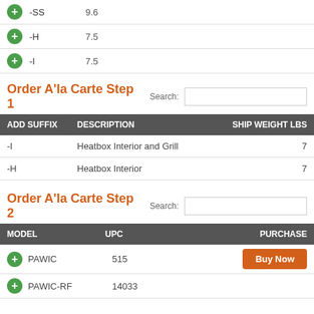-SS   9.6
-H   7.5
-I   7.5
Order A'la Carte Step 1
| ADD SUFFIX | DESCRIPTION | SHIP WEIGHT LBS |
| --- | --- | --- |
| -I | Heatbox Interior and Grill | 7 |
| -H | Heatbox Interior | 7 |
Order A'la Carte Step 2
| MODEL | UPC | PURCHASE |
| --- | --- | --- |
| PAWIC | 515 | Buy Now |
| PAWIC-RF | 14033 |  |